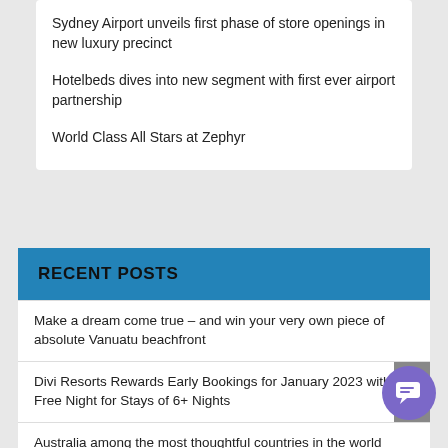Sydney Airport unveils first phase of store openings in new luxury precinct
Hotelbeds dives into new segment with first ever airport partnership
World Class All Stars at Zephyr
RECENT POSTS
Make a dream come true – and win your very own piece of absolute Vanuatu beachfront
Divi Resorts Rewards Early Bookings for January 2023 with a Free Night for Stays of 6+ Nights
Australia among the most thoughtful countries in the world
Embrace the journey to Lightning Ridge
BCD Travel appoints industry veteran Andrew Yoo as